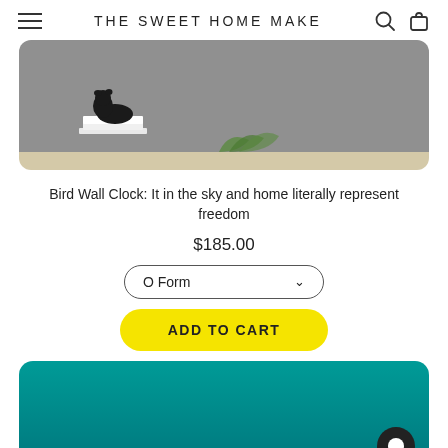THE SWEET HOME MAKE
[Figure (photo): Product photo showing a black bear figurine standing on white books on a shelf with gray wall background]
Bird Wall Clock: It in the sky and home literally represent freedom
$185.00
O Form
ADD TO CART
[Figure (photo): Teal/turquoise background product photo showing white bird figurines, partially cropped at bottom of page]